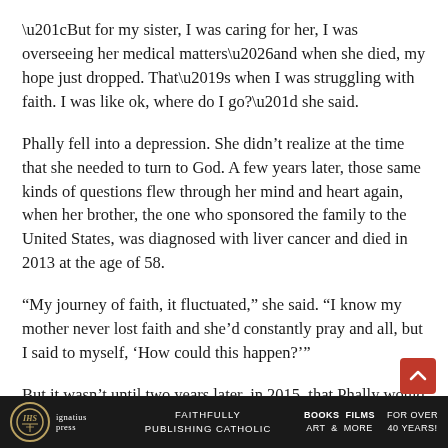“But for my sister, I was caring for her, I was overseeing her medical matters…and when she died, my hope just dropped. That’s when I was struggling with faith. I was like ok, where do I go?” she said.
Phally fell into a depression. She didn’t realize at the time that she needed to turn to God. A few years later, those same kinds of questions flew through her mind and heart again, when her brother, the one who sponsored the family to the United States, was diagnosed with liver cancer and died in 2013 at the age of 58.
“My journey of faith, it fluctuated,” she said. “I know my mother never lost faith and she’d constantly pray and all, but I said to myself, ‘How could this happen?’”
But it wasn’t until two years later, in 2015, that Phally would have an encounter with God that would prompt her to s…
Ignatius Press — FAITHFULLY PUBLISHING CATHOLIC — BOOKS FILMS ART & MORE — FOR OVER 40 YEARS!